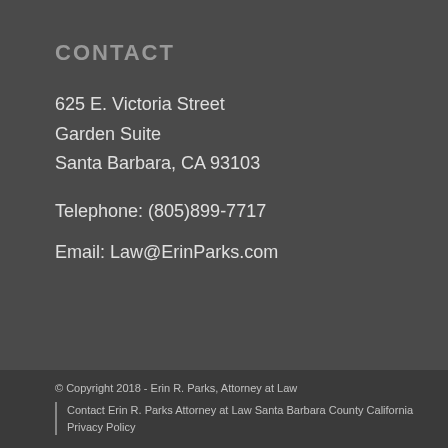CONTACT
625 E. Victoria Street
Garden Suite
Santa Barbara, CA 93103
Telephone: (805)899-7717
Email: Law@ErinParks.com
© Copyright 2018 - Erin R. Parks, Attorney at Law
Contact Erin R. Parks Attorney at Law Santa Barbara County California | Privacy Policy